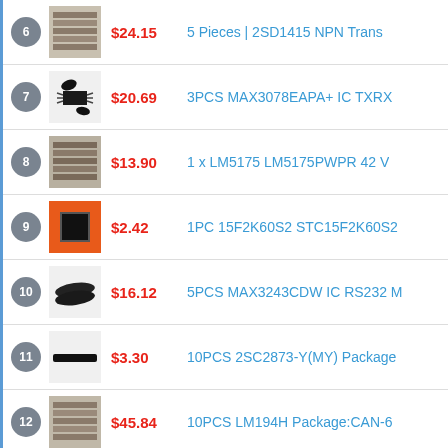6 | $24.15 | 5 Pieces | 2SD1415 NPN Trans
7 | $20.69 | 3PCS MAX3078EAPA+ IC TXRX
8 | $13.90 | 1 x LM5175 LM5175PWPR 42 V
9 | $2.42 | 1PC 15F2K60S2 STC15F2K60S2
10 | $16.12 | 5PCS MAX3243CDW IC RS232 M
11 | $3.30 | 10PCS 2SC2873-Y(MY) Package
12 | $45.84 | 10PCS LM194H Package:CAN-6
13 | $12.93 | 1PCS KSZ8893FQL-FX IC SWITC